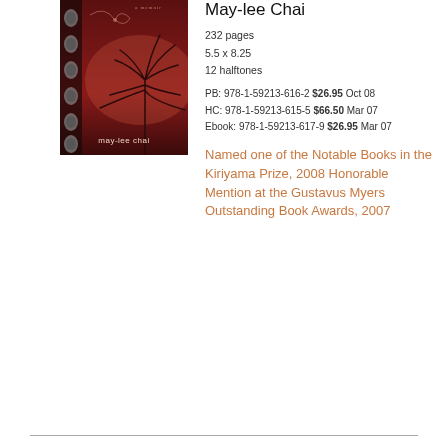[Figure (illustration): Book cover with red/dark background showing a tree silhouette and small portrait photos along the left side. 'may-lee chai' text on cover. 'a memoir' text at top.]
May-lee Chai
232 pages
5.5 x 8.25
12 halftones
PB: 978-1-59213-616-2 $26.95 Oct 08
HC: 978-1-59213-615-5 $66.50 Mar 07
Ebook: 978-1-59213-617-9 $26.95 Mar 07
Named one of the Notable Books in the Kiriyama Prize, 2008 Honorable Mention at the Gustavus Myers Outstanding Book Awards, 2007